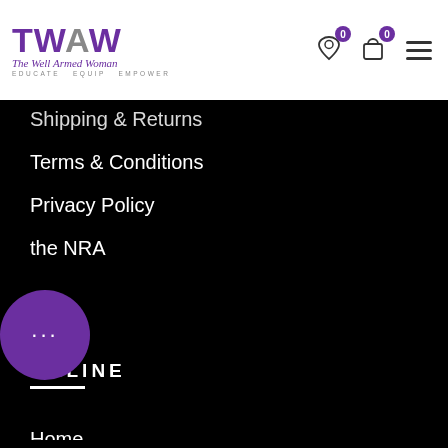[Figure (logo): The Well Armed Woman logo with TWAW monogram in purple and gray, italic script subtitle, and 'EDUCATE EQUIP EMPOWER' tagline]
Shipping & Returns
Terms & Conditions
Privacy Policy
the NRA
ONLINE
Home
About Us
News
Blog
Where to Start
Find an Instructor
Contact Us
Giveaways